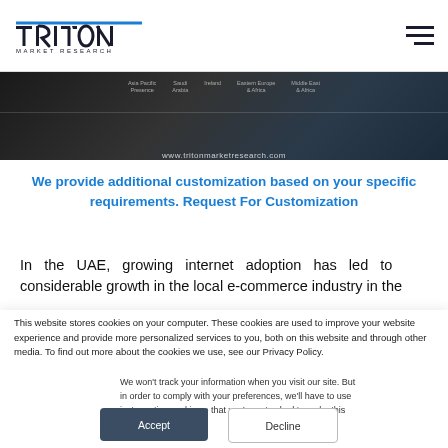Triton Market Research — navigation header with logo and hamburger menu
[Figure (screenshot): Dark banner image showing a website screenshot with navigation tabs and URL www.tritonmarketresearch.com]
We provide additional customization based on your specific requirements. Request For Customization
In the UAE, growing internet adoption has led to considerable growth in the local e-commerce industry in the
This website stores cookies on your computer. These cookies are used to improve your website experience and provide more personalized services to you, both on this website and through other media. To find out more about the cookies we use, see our Privacy Policy.
We won't track your information when you visit our site. But in order to comply with your preferences, we'll have to use just one tiny cookie so that you're not asked to make this choice again.